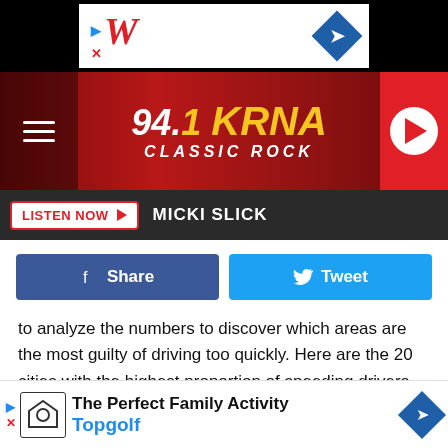[Figure (screenshot): Advertisement banner with Walgreens logo and blue diamond navigation icon on black background]
[Figure (logo): 94.1 KRNA Classic Rock radio station header with red gradient background, hamburger menu, play button]
[Figure (screenshot): Listen Now bar with red button and MICKI SLICK text on dark background]
[Figure (screenshot): Facebook Share and Twitter Tweet social sharing buttons]
to analyze the numbers to discover which areas are the most guilty of driving too quickly. Here are the 20 cities with the highest proportion of speeding drivers.
Insights
[Figure (logo): Insurify logo in orange with dots above i characters]
Cities with the Most Speeding
Top
hare
[Figure (screenshot): Topgolf advertisement banner with The Perfect Family Activity text and Topgolf branding]